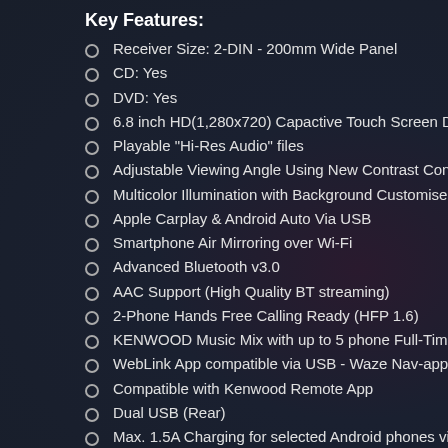Key Features:
Receiver Size: 2-DIN - 200mm Wide Panel
CD: Yes
DVD: Yes
6.8 inch HD(1,280x720) Capactive Touch Screen Display
Playable "Hi-Res Audio" files
Adjustable Viewing Angle Using New Contrast Control Tech
Multicolor Illumination with Background Customise
Apple Carplay & Android Auto Via USB
Smartphone Air Mirroring over Wi-Fi
Advanced Bluetooth v3.0
AAC Support (High Quality BT streaming)
2-Phone Hands Free Calling Ready (HFP 1.6)
KENWOOD Music Mix with up to 5 phone Full-Time Conne
WebLink App compatible via USB - Waze Nav-app / Youtu
Compatible with Kenwood Remote App
Dual USB (Rear)
Max. 1.5A Charging for selected Android phones via USB
FLAC / WMA / MP3 / AAC / WAV Playback